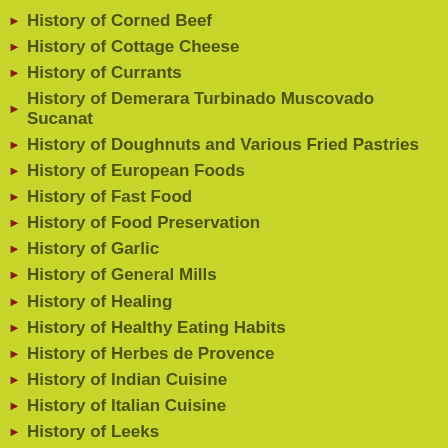History of Corned Beef
History of Cottage Cheese
History of Currants
History of Demerara Turbinado Muscovado Sucanat
History of Doughnuts and Various Fried Pastries
History of European Foods
History of Fast Food
History of Food Preservation
History of Garlic
History of General Mills
History of Healing
History of Healthy Eating Habits
History of Herbes de Provence
History of Indian Cuisine
History of Italian Cuisine
History of Leeks
History of Medieval Foods
History of Mediterranean Cooking
History of Mexican Cuisine
History of Middle Eastern Foods